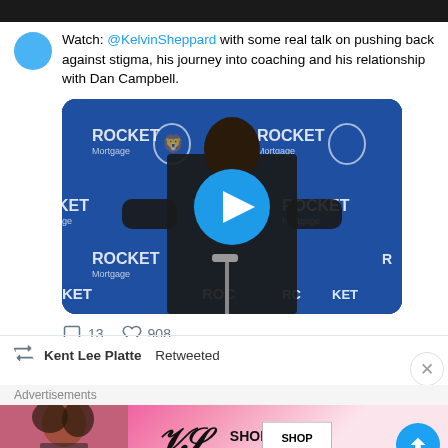Watch: @KelvinSheppard with some real talk on pushing back against stigma, his journey into coaching and his relationship with Dan Campbell.
[Figure (screenshot): Video thumbnail showing a person at a Detroit Lions press conference backdrop with Rocket Mortgage branding. A circular blue play button is centered on the image.]
13  908
Kent Lee Platte Retweeted
Advertisements
[Figure (photo): Victoria's Secret advertisement banner showing a model, the VS logo, 'SHOP THE COLLECTION' text, and a 'SHOP NOW' button.]